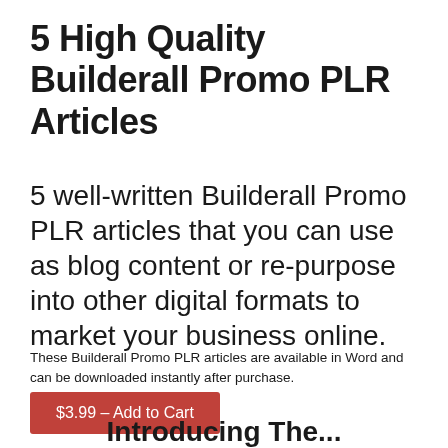5 High Quality Builderall Promo PLR Articles
5 well-written Builderall Promo PLR articles that you can use as blog content or re-purpose into other digital formats to market your business online.
These Builderall Promo PLR articles are available in Word and can be downloaded instantly after purchase.
$3.99 – Add to Cart
Introducing The...